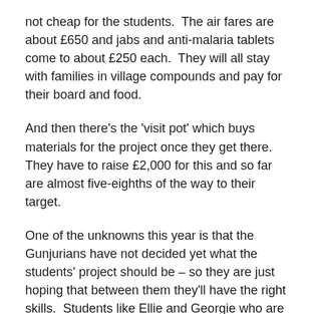not cheap for the students.  The air fares are about £650 and jabs and anti-malaria tablets come to about £250 each.  They will all stay with families in village compounds and pay for their board and food.
And then there's the 'visit pot' which buys materials for the project once they get there.  They have to raise £2,000 for this and so far are almost five-eighths of the way to their target.
One of the unknowns this year is that the Gunjurians have not decided yet what the students' project should be – so they are just hoping that between them they'll have the right skills.  Students like Ellie and Georgie who are taking the International Baccalaureate will be earning time on the Community Action Service which they have to achieve as part of their course.